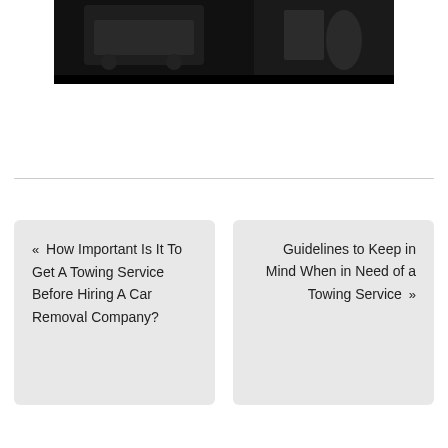[Figure (photo): Dark image showing a car and a figure, partial view at top of page]
« How Important Is It To Get A Towing Service Before Hiring A Car Removal Company?
Guidelines to Keep in Mind When in Need of a Towing Service »